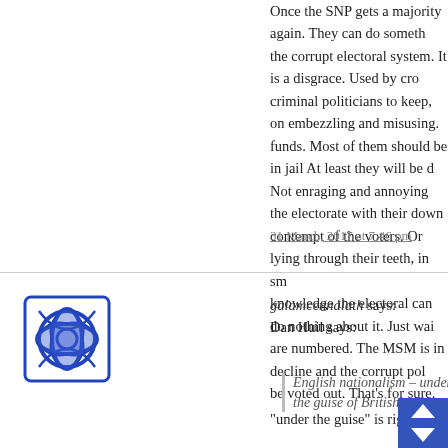Once the SNP gets a majority again. They can do something about the corrupt electoral system. It is a disgrace. Used by criminal politicians to keep, on embezzling and misusing. funds. Most of them should be in jail At least they will be d... Not enraging and annoying the electorate with their down... contempt of the voters. Or lying through their teeth, in sm... knowledge the electoral can do nothing about it. Just wai... are numbered. The MSM is in decline and the corrupt pol... be voted out. That's for sure.
31 March, 2017 at 7:46 pm
[Figure (illustration): Blue Celtic knot avatar icon]
galamcennalath says:
Dan Huil says:
English nationalism – under the guise of British na...
“under the guise” is right.
Is there really any difference, British/English nationalism?
Because we non-English Britons rightly distinguish betw... Britain/England and British/English we sometimes assum... can.